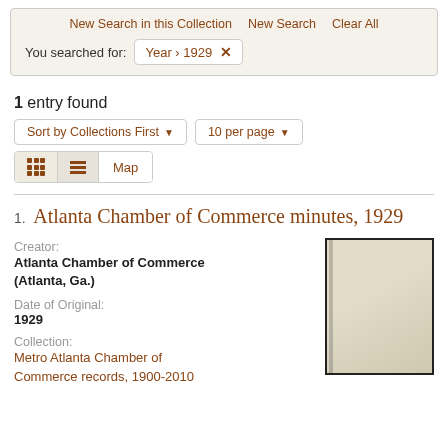New Search in this Collection   New Search   Clear All
You searched for: Year > 1929 ✕
1 entry found
Sort by Collections First ▾   10 per page ▾
Grid view   List view   Map
1. Atlanta Chamber of Commerce minutes, 1929
Creator:
Atlanta Chamber of Commerce (Atlanta, Ga.)
Date of Original:
1929
Collection:
Metro Atlanta Chamber of Commerce records, 1900-2010
[Figure (photo): Thumbnail image of an old document page, yellowed paper with dark border]